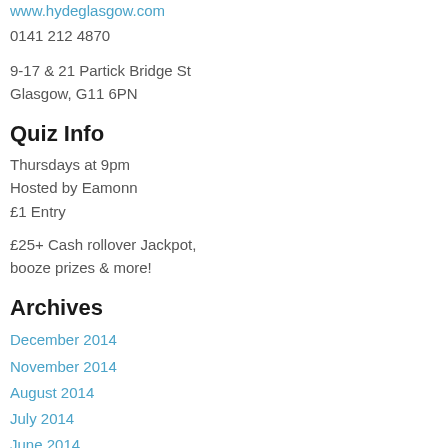www.hydeglasgow.com
0141 212 4870
9-17 & 21 Partick Bridge St
Glasgow, G11 6PN
Quiz Info
Thursdays at 9pm
Hosted by Eamonn
£1 Entry
£25+ Cash rollover Jackpot, booze prizes & more!
Archives
December 2014
November 2014
August 2014
July 2014
June 2014
May 2014